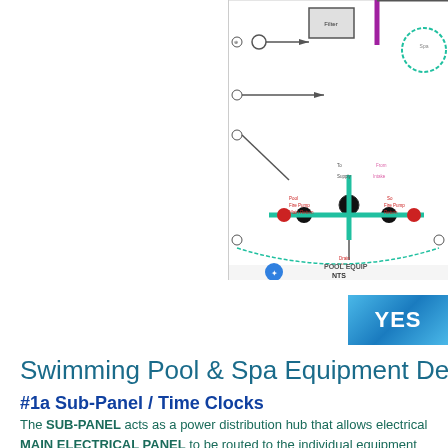[Figure (schematic): Pool equipment schematic/plumbing diagram showing pipes, valves, pump, filter, and spa components with colored flow lines. Includes a logo (circular blue icon with stylized figure) and the text 'POOL EQUIP' and 'NTS' at the bottom.]
[Figure (other): Blue gradient 'YES' button partially visible at right edge.]
Swimming Pool & Spa Equipment Description
#1a Sub-Panel / Time Clocks
The SUB-PANEL acts as a power distribution hub that allows electrical MAIN ELECTRICAL PANEL to be routed to the individual equipment components that require power at the P